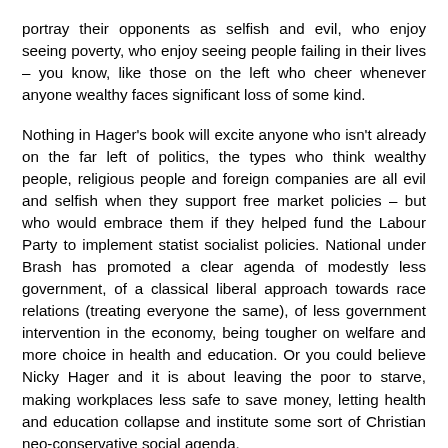portray their opponents as selfish and evil, who enjoy seeing poverty, who enjoy seeing people failing in their lives – you know, like those on the left who cheer whenever anyone wealthy faces significant loss of some kind.
Nothing in Hager's book will excite anyone who isn't already on the far left of politics, the types who think wealthy people, religious people and foreign companies are all evil and selfish when they support free market policies – but who would embrace them if they helped fund the Labour Party to implement statist socialist policies. National under Brash has promoted a clear agenda of modestly less government, of a classical liberal approach towards race relations (treating everyone the same), of less government intervention in the economy, being tougher on welfare and more choice in health and education. Or you could believe Nicky Hager and it is about leaving the poor to starve, making workplaces less safe to save money, letting health and education collapse and institute some sort of Christian neo-conservative social agenda.